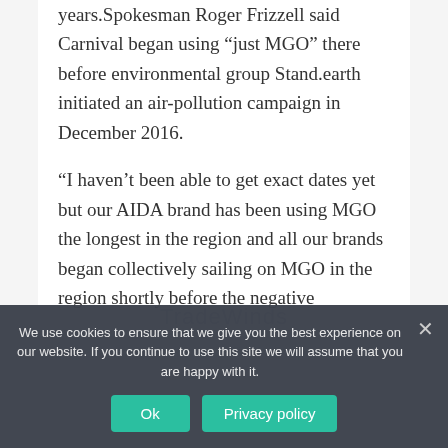years.Spokesman Roger Frizzell said Carnival began using “just MGO” there before environmental group Stand.earth initiated an air-pollution campaign in December 2016.
“I haven’t been able to get exact dates yet but our AIDA brand has been using MGO the longest in the region and all our brands began collectively sailing on MGO in the region shortly before the negative coverage began appearing in TradeWinds...
...
We use cookies to ensure that we give you the best experience on our website. If you continue to use this site we will assume that you are happy with it.